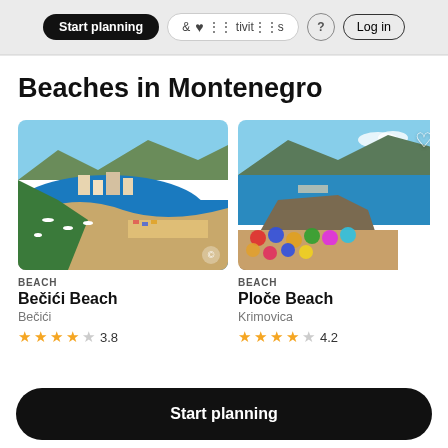Start planning   & Activities   ? Log in
Beaches in Montenegro
[Figure (photo): Aerial photo of Bečići Beach, Montenegro, showing a curved bay with blue water, boats, beachgoers, and resort town]
BEACH
Bečići Beach
Bečići
3.8
[Figure (photo): Photo of Ploče Beach in Krimovica, Montenegro, showing crowded beach with colorful umbrellas, rocky coastline and mountains in background]
BEACH
Ploče Beach
Krimovica
4.2
Start planning